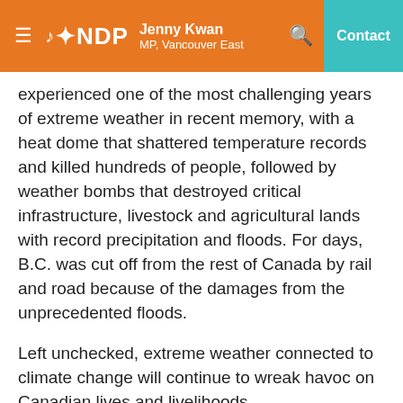Jenny Kwan MP, Vancouver East — NDP — Contact
experienced one of the most challenging years of extreme weather in recent memory, with a heat dome that shattered temperature records and killed hundreds of people, followed by weather bombs that destroyed critical infrastructure, livestock and agricultural lands with record precipitation and floods. For days, B.C. was cut off from the rest of Canada by rail and road because of the damages from the unprecedented floods.
Left unchecked, extreme weather connected to climate change will continue to wreak havoc on Canadian lives and livelihoods.
Around the globe, we are witnessing how climate change has caused substantial damage to terrestrial, freshwater and coastal and ocean marine ecosystems. We are seeing glacier melt, mountains change and permafrost thaw in